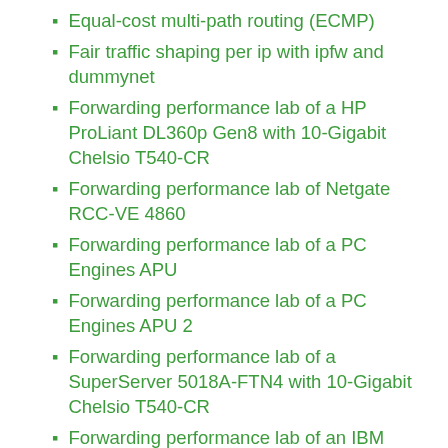Equal-cost multi-path routing (ECMP)
Fair traffic shaping per ip with ipfw and dummynet
Forwarding performance lab of a HP ProLiant DL360p Gen8 with 10-Gigabit Chelsio T540-CR
Forwarding performance lab of Netgate RCC-VE 4860
Forwarding performance lab of a PC Engines APU
Forwarding performance lab of a PC Engines APU 2
Forwarding performance lab of a SuperServer 5018A-FTN4 with 10-Gigabit Chelsio T540-CR
Forwarding performance lab of an IBM System x3550 M3 with 10-Gigabit Intel 82599EB
Forwarding performance lab of an IBM System x3550 M3 with 10-Gigabit Intel X540-AT2
Forwarding performance lab of an IBM System x3550 M3 with Intel 82580
FreeBSD performance regression lab